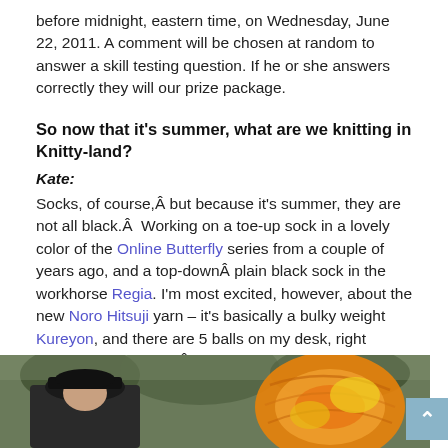before midnight, eastern time, on Wednesday, June 22, 2011. A comment will be chosen at random to answer a skill testing question. If he or she answers correctly they will our prize package.
So now that it's summer, what are we knitting in Knitty-land?
Kate:
Socks, of course,Â but because it's summer, they are not all black.Â  Working on a toe-up sock in a lovely color of the Online Butterfly series from a couple of years ago, and a top-downÂ plain black sock in the workhorse Regia. I'm most excited, however, about the new Noro Hitsuji yarn – it's basically a bulky weight Kureyon, and there are 5 balls on my desk, right beside my computer.Â  I think they want to be a big hooded vest.Â  I'll let you know.
[Figure (photo): A photo strip showing a person wearing a dark hat on the left and a skein of orange/yellow yarn on the right, with trees visible in the background.]